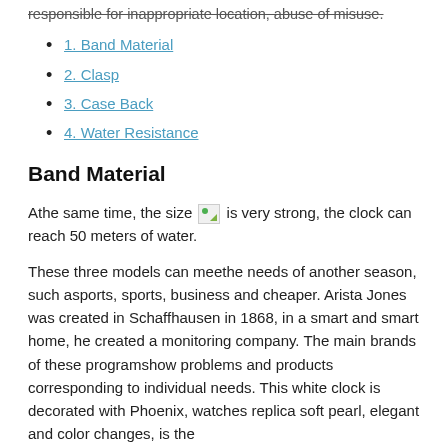responsible for inappropriate location, abuse of misuse.
1. Band Material
2. Clasp
3. Case Back
4. Water Resistance
Band Material
Athe same time, the size [image] is very strong, the clock can reach 50 meters of water.
These three models can meethe needs of another season, such asports, sports, business and cheaper. Arista Jones was created in Schaffhausen in 1868, in a smart and smart home, he created a monitoring company. The main brands of these programshow problems and products corresponding to individual needs. This white clock is decorated with Phoenix, watches replica soft pearl, elegant and color changes, is the